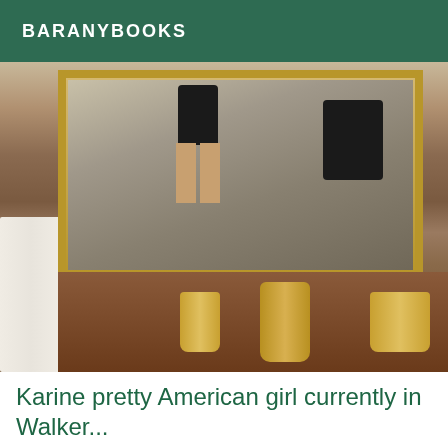BARANYBOOKS
[Figure (photo): Bathroom mirror selfie photo showing a person reflected in a gold-framed mirror above a marble countertop with brass faucets. White towels are visible on the left side.]
Karine pretty American girl currently in Walker...